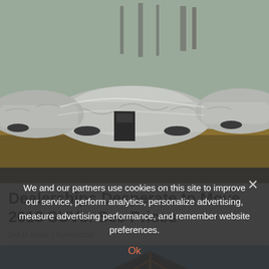[Figure (photo): Cars covered with grey protective covers parked in a lot, with dry grass and industrial background]
Dealerships Desperate to Move 2018 SUVs: See Prices
Did U Know | Sponsored
[Figure (photo): Rooftop of a house with wooden beams and dark shingles against a blue sky]
We and our partners use cookies on this site to improve our service, perform analytics, personalize advertising, measure advertising performance, and remember website preferences.
Ok